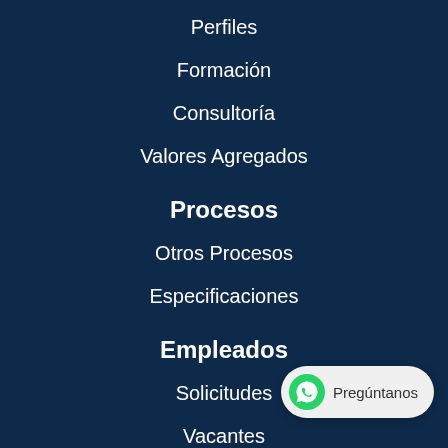Perfiles
Formación
Consultoría
Valores Agregados
Procesos
Otros Procesos
Especificaciones
Empleados
Solicitudes
Vacantes
Pregúntanos